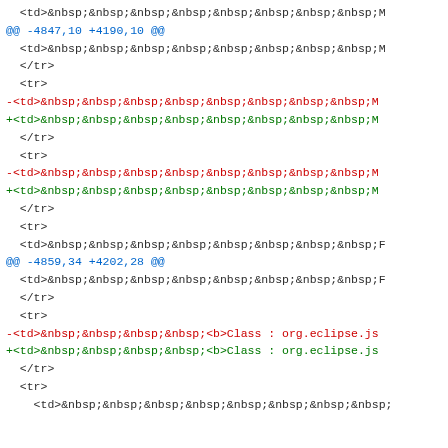Code diff showing HTML table row modifications with &nbsp; entities and Class: org.eclipse.js references
@@ -4847,10 +4190,10 @@
<td>&nbsp;&nbsp;&nbsp;&nbsp;&nbsp;&nbsp;&nbsp;&nbsp;M
  </tr>
  <tr>
-<td>&nbsp;&nbsp;&nbsp;&nbsp;&nbsp;&nbsp;&nbsp;&nbsp;M
+<td>&nbsp;&nbsp;&nbsp;&nbsp;&nbsp;&nbsp;&nbsp;&nbsp;M
  </tr>
  <tr>
-<td>&nbsp;&nbsp;&nbsp;&nbsp;&nbsp;&nbsp;&nbsp;&nbsp;M
+<td>&nbsp;&nbsp;&nbsp;&nbsp;&nbsp;&nbsp;&nbsp;&nbsp;M
  </tr>
  <tr>
  <td>&nbsp;&nbsp;&nbsp;&nbsp;&nbsp;&nbsp;&nbsp;&nbsp;F
@@ -4859,34 +4202,28 @@
<td>&nbsp;&nbsp;&nbsp;&nbsp;&nbsp;&nbsp;&nbsp;&nbsp;F
  </tr>
  <tr>
-<td>&nbsp;&nbsp;&nbsp;&nbsp;<b>Class : org.eclipse.js
+<td>&nbsp;&nbsp;&nbsp;&nbsp;<b>Class : org.eclipse.js
  </tr>
  <tr>
  <td>&nbsp;&nbsp;&nbsp;&nbsp;&nbsp;&nbsp;&nbsp;&nbsp;&nbsp;&nbsp;&nbsp;&nbsp;